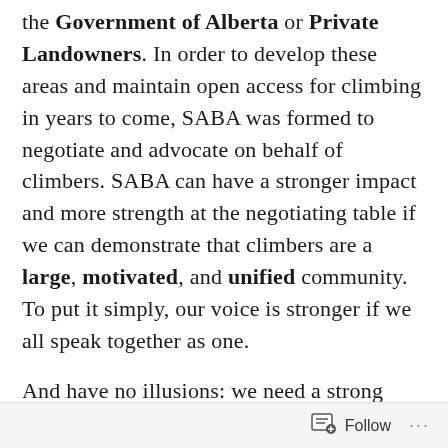the Government of Alberta or Private Landowners. In order to develop these areas and maintain open access for climbing in years to come, SABA was formed to negotiate and advocate on behalf of climbers. SABA can have a stronger impact and more strength at the negotiating table if we can demonstrate that climbers are a large, motivated, and unified community. To put it simply, our voice is stronger if we all speak together as one.

And have no illusions: we need a strong voice. Climbing is exploding in popularity, and we are increasingly existing in spaces where more attention is turned to climbing activity, and this attention is not always friendly to climbers...
Follow ···